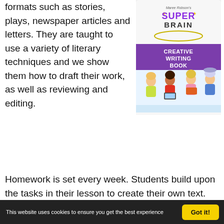formats such as stories, plays, newspaper articles and letters. They are taught to use a variety of literary techniques and we show them how to draft their work, as well as reviewing and editing.
[Figure (illustration): Book cover of 'Maree Robson's Super Brain Creative Writing Book' showing cartoon children reading and writing, with a purple band and title text.]
Homework is set every week. Students build upon the tasks in their lesson to create their own text. The texts are then reviewed at the start of the next lesson.
This website uses cookies to ensure you get the best experience   Got it!